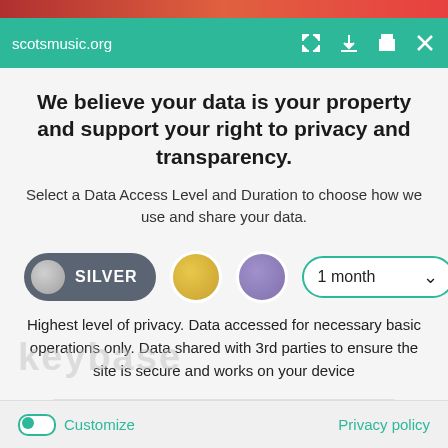scotsmusic.org
We believe your data is your property and support your right to privacy and transparency.
Select a Data Access Level and Duration to choose how we use and share your data.
[Figure (infographic): Data access level selector with SILVER button (dark grey pill with grey circle), gold circle option, purple circle option, and a '1 month' dropdown with teal border]
Highest level of privacy. Data accessed for necessary basic operations only. Data shared with 3rd parties to ensure the site is secure and works on your device
Save my preferences
Customize   Privacy policy